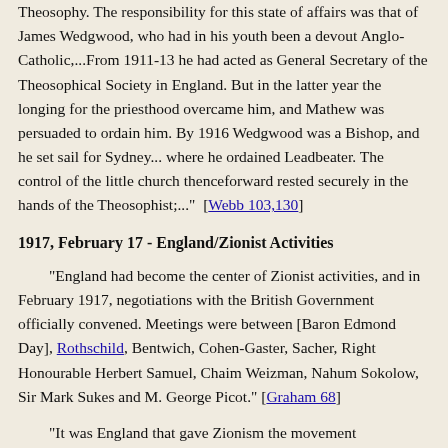Theosophy. The responsibility for this state of affairs was that of James Wedgwood, who had in his youth been a devout Anglo-Catholic,...From 1911-13 he had acted as General Secretary of the Theosophical Society in England. But in the latter year the longing for the priesthood overcame him, and Mathew was persuaded to ordain him. By 1916 Wedgwood was a Bishop, and he set sail for Sydney... where he ordained Leadbeater. The control of the little church thenceforward rested securely in the hands of the Theosophist;..." [Webb 103,130]
1917, February 17 - England/Zionist Activities
"England had become the center of Zionist activities, and in February 1917, negotiations with the British Government officially convened. Meetings were between [Baron Edmond Day], Rothschild, Bentwich, Cohen-Gaster, Sacher, Right Honourable Herbert Samuel, Chaim Weizman, Nahum Sokolow, Sir Mark Sukes and M. George Picot." [Graham 68]
"It was England that gave Zionism the movement ...